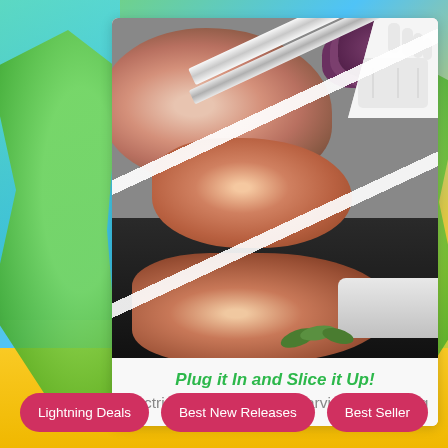[Figure (photo): Product advertisement photo collage showing an electric kitchen knife slicing various meats (ham, roast) in three diagonal panels, with a white-gloved hand holding the knife, grapes visible in background]
Plug it In and Slice it Up!
Electric Kitchen Knife for Carving and Slicing
Lightning Deals
Best New Releases
Best Seller